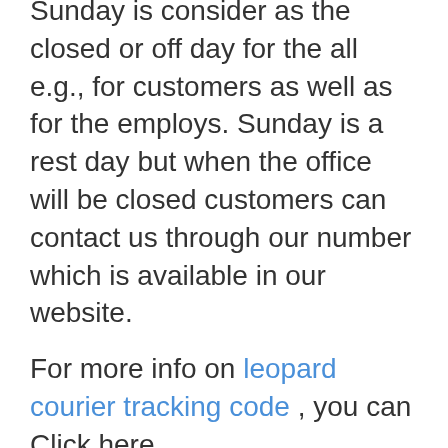Sunday is consider as the closed or off day for the all e.g., for customers as well as for the employs. Sunday is a rest day but when the office will be closed customers can contact us through our number which is available in our website.
For more info on leopard courier tracking code , you can Click here
Apart from this, if we talk about the weight of the packages then delivering the parcel within city Movex Company will charge 130rs on delivering 3Kg whereas city to city Movex will charge 240rs of 3kg. So, the price varies from delivering the parcel within the city, city to city and city to another country etc.